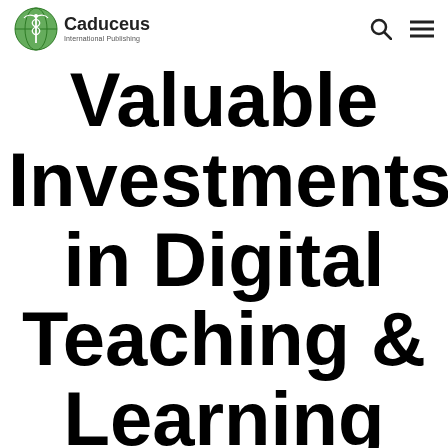Caduceus International Publishing
Valuable Investments in Digital Teaching & Learning for